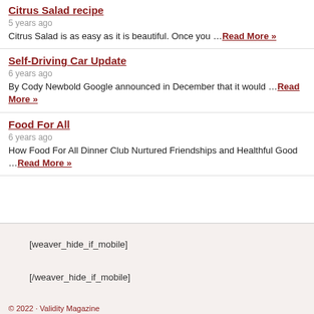Citrus Salad recipe
5 years ago
Citrus Salad is as easy as it is beautiful. Once you …Read More »
Self-Driving Car Update
6 years ago
By Cody Newbold Google announced in December that it would …Read More »
Food For All
6 years ago
How Food For All Dinner Club Nurtured Friendships and Healthful Good …Read More »
[weaver_hide_if_mobile]
[/weaver_hide_if_mobile]
© 2022 · Validity Magazine